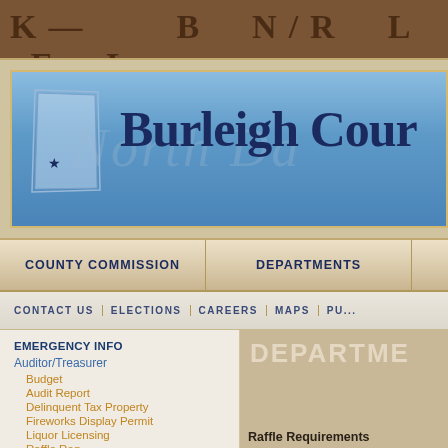[Figure (screenshot): Burleigh County government website header with dark brown map background showing county/state text]
[Figure (logo): Burleigh County website banner with blue background, North Dakota state shape outline with star, and 'Burleigh Cou[nty]' title text in dark navy serif font]
COUNTY COMMISSION | DEPARTMENTS
CONTACT US | ELECTIONS | CAREERS | MAPS | PU[BLIC...]
EMERGENCY INFO
Auditor/Treasurer
Budget
Audit Report
Delinquent Tax Property
Fireworks Display Permit
Liquor Licensing
[Figure (screenshot): Partial right panel with beige/tan background showing 'DEPARTME[NTS]' text partially cut off]
Raffle Requirements